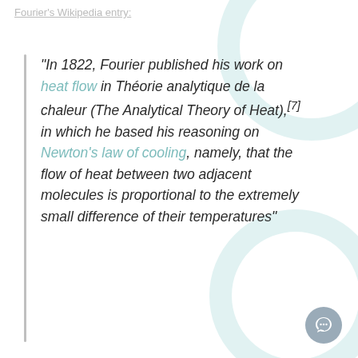Fourier's Wikipedia entry:
"In 1822, Fourier published his work on heat flow in Théorie analytique de la chaleur (The Analytical Theory of Heat),[7] in which he based his reasoning on Newton's law of cooling, namely, that the flow of heat between two adjacent molecules is proportional to the extremely small difference of their temperatures"